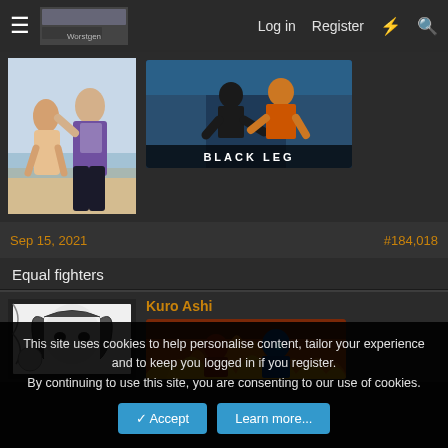Log in   Register
[Figure (illustration): Manga/anime style character in purple top and black pants running on a beach]
[Figure (illustration): Game artwork showing two fighting characters with 'BLACK LEG' text label at bottom]
Sep 15, 2021   #184,018
Equal fighters
Kuro Ashi
[Figure (illustration): Black and white manga panel close-up of a character]
[Figure (illustration): Colorful fiery game/anime artwork]
This site uses cookies to help personalise content, tailor your experience and to keep you logged in if you register.
By continuing to use this site, you are consenting to our use of cookies.